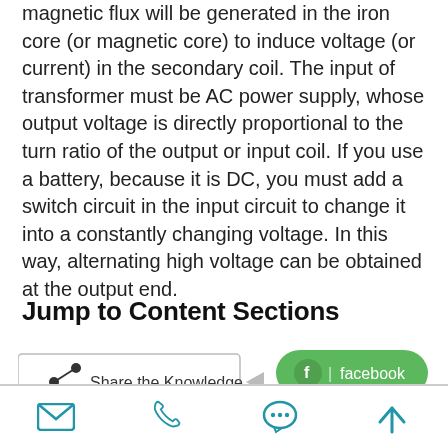magnetic flux will be generated in the iron core (or magnetic core) to induce voltage (or current) in the secondary coil. The input of transformer must be AC power supply, whose output voltage is directly proportional to the turn ratio of the output or input coil. If you use a battery, because it is DC, you must add a switch circuit in the input circuit to change it into a constantly changing voltage. In this way, alternating high voltage can be obtained at the output end.
Jump to Content Sections
[Figure (infographic): Share the Knowledge button with arrow pointing to Facebook (green rounded button) and Twitter (cyan rounded button) social sharing buttons]
[Figure (infographic): Partially visible blue rounded Calculator button]
Email icon | Phone icon | Chat icon | Up arrow icon